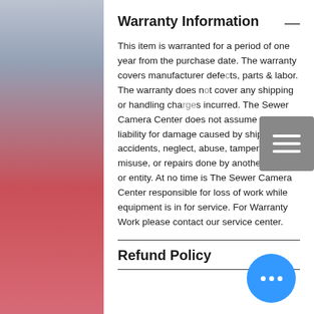Warranty Information
This item is warranted for a period of one year from the purchase date. The warranty covers manufacturer defects, parts & labor. The warranty does not cover any shipping or handling charges incurred. The Sewer Camera Center does not assume any liability for damage caused by shipping, accidents, neglect, abuse, tampering. misuse, or repairs done by another person or entity. At no time is The Sewer Camera Center responsible for loss of work while equipment is in for service. For Warranty Work please contact our service center.
Refund Policy